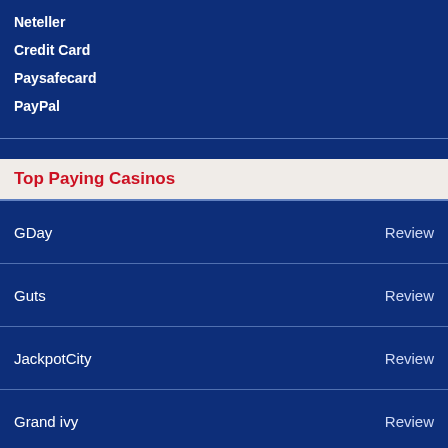Neteller
Credit Card
Paysafecard
PayPal
Top Paying Casinos
| Casino | Link |
| --- | --- |
| GDay | Review |
| Guts | Review |
| JackpotCity | Review |
| Grand ivy | Review |
| Temple Nile | Review |
| Casumo | Review |